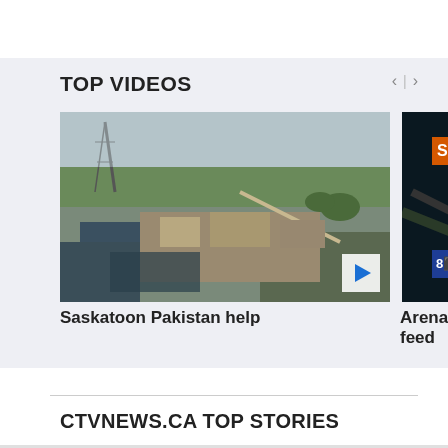TOP VIDEOS
[Figure (screenshot): Aerial flood photo of Saskatoon Pakistan help video thumbnail with play button]
Saskatoon Pakistan help
[Figure (screenshot): Partially visible second video thumbnail with Sas orange badge]
Arena feed
CTVNEWS.CA TOP STORIES